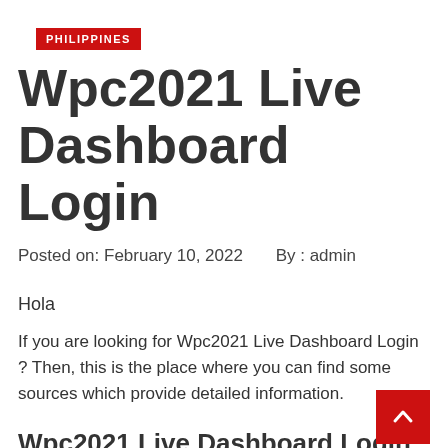PHILIPPINES
Wpc2021 Live Dashboard Login
Posted on: February 10, 2022    By : admin
Hola
If you are looking for Wpc2021 Live Dashboard Login ? Then, this is the place where you can find some sources which provide detailed information.
Wpc2021 Live Dashboard Login